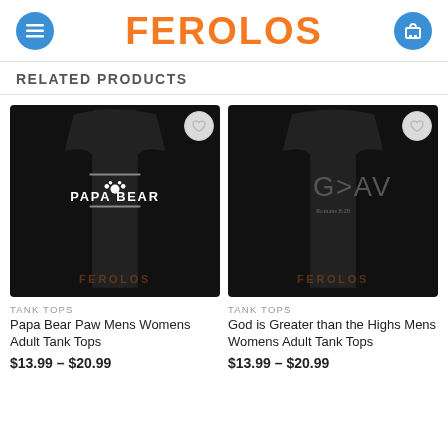FEROLOS
RELATED PRODUCTS
[Figure (photo): Black tank top with 'Papa Bear' paw print text design on dark background, with FEROLOS watermark]
TANK TOPS
Papa Bear Paw Mens Womens Adult Tank Tops
$13.99 – $20.99
[Figure (photo): Black tank top with 'G>AV' God is Greater than the Highs design on dark background, with FEROLOS watermark]
TANK TOPS
God is Greater than the Highs Mens Womens Adult Tank Tops
$13.99 – $20.99